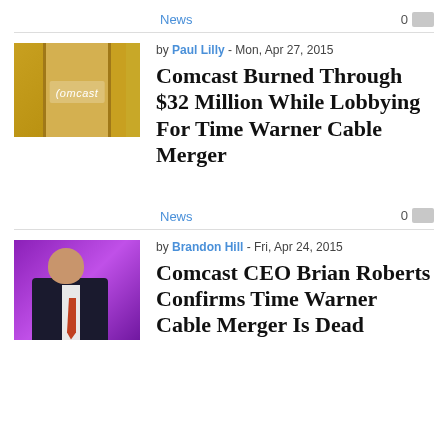News
[Figure (photo): Comcast office door with Comcast logo on a gold/yellow wall]
by Paul Lilly - Mon, Apr 27, 2015
Comcast Burned Through $32 Million While Lobbying For Time Warner Cable Merger
News
[Figure (photo): Comcast CEO Brian Roberts sitting in front of purple background]
by Brandon Hill - Fri, Apr 24, 2015
Comcast CEO Brian Roberts Confirms Time Warner Cable Merger Is Dead